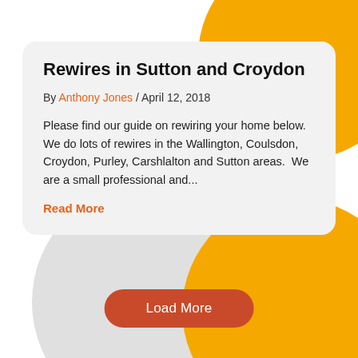Rewires in Sutton and Croydon
By Anthony Jones / April 12, 2018
Please find our guide on rewiring your home below.  We do lots of rewires in the Wallington, Coulsdon, Croydon, Purley, Carshlalton and Sutton areas.  We are a small professional and...
Read More
Load More